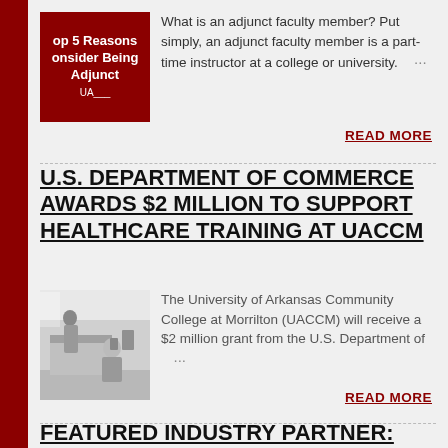[Figure (photo): Red thumbnail image with text 'Top 5 Reasons to Consider Being Adjunct' with UA logo]
What is an adjunct faculty member? Put simply, an adjunct faculty member is a part-time instructor at a college or university. …
READ MORE
U.S. DEPARTMENT OF COMMERCE AWARDS $2 MILLION TO SUPPORT HEALTHCARE TRAINING AT UACCM
[Figure (photo): Photo of a laboratory or medical training facility with person in foreground]
The University of Arkansas Community College at Morrilton (UACCM) will receive a $2 million grant from the U.S. Department of …
READ MORE
FEATURED INDUSTRY PARTNER: JONATHAN HAMNER